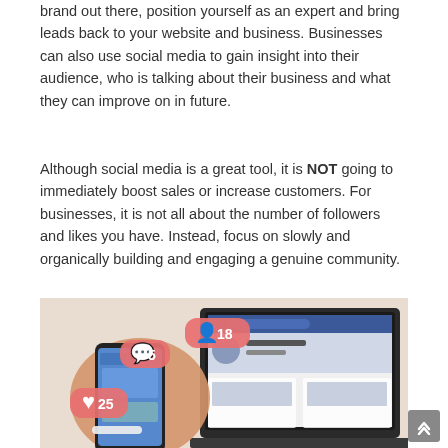brand out there, position yourself as an expert and bring leads back to your website and business. Businesses can also use social media to gain insight into their audience, who is talking about their business and what they can improve on in future.
Although social media is a great tool, it is NOT going to immediately boost sales or increase customers. For businesses, it is not all about the number of followers and likes you have. Instead, focus on slowly and organically building and engaging a genuine community.
[Figure (photo): A person holding a smartphone with social media notification bubbles (likes: 25, comments: 5, followers: 18) floating above it, with a laptop showing a social media profile page in the background.]